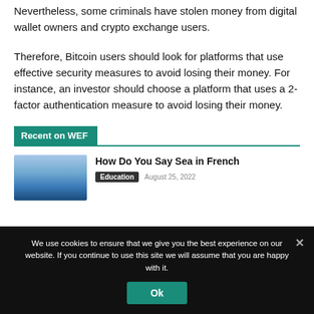Nevertheless, some criminals have stolen money from digital wallet owners and crypto exchange users.
Therefore, Bitcoin users should look for platforms that use effective security measures to avoid losing their money. For instance, an investor should choose a platform that uses a 2-factor authentication measure to avoid losing their money.
Recent on WEF
[Figure (photo): Sky with clouds, blue gradient landscape photo]
How Do You Say Sea in French
Education   August 25, 2022
We use cookies to ensure that we give you the best experience on our website. If you continue to use this site we will assume that you are happy with it.